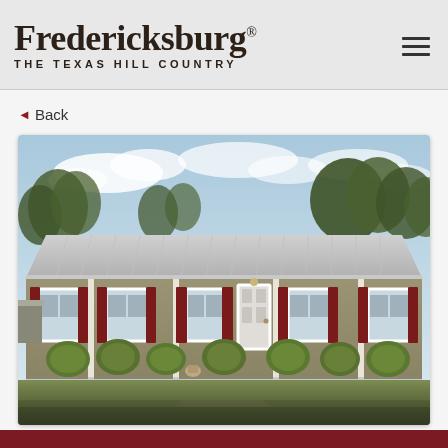Fredericksburg® THE TEXAS HILL COUNTRY
◄ Back
[Figure (photo): A single-story ranch-style house with a metal roof, olive/tan siding, dark red shutters, white front door and trim, covered porch with white columns, neatly trimmed round shrubs along the foundation, and a grassy front yard. Large trees in the background under a partly cloudy sky.]